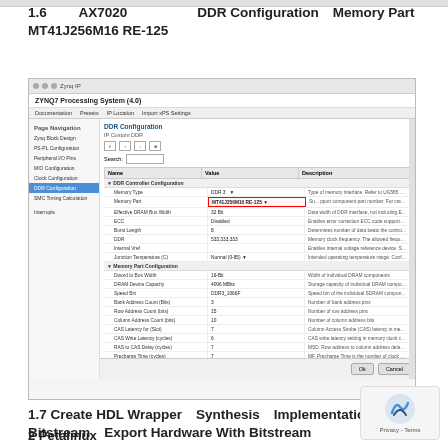1.6 　　AX7020　　　　　DDR Configuration　Memory Part　　 MT41J256M16 RE-125
[Figure (screenshot): Screenshot of Vivado DDR Configuration dialog showing DDR Controller Configuration and Memory Part Configuration settings. Memory Part is highlighted with a red border showing MT41J256M16 RE-125 selected.]
1.7 Create HDL Wrapper　Synthesis　Implementation, Gen Bitstream　Export Hardware With Bitstream　　　　xsa
2 Petalinux